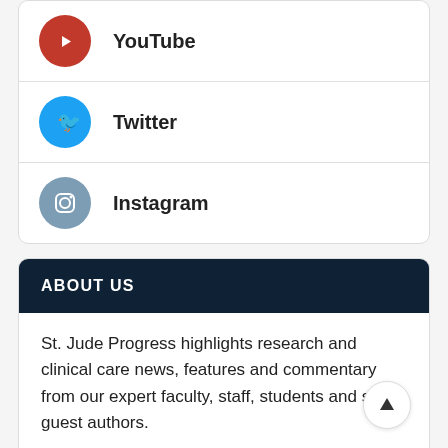YouTube
Twitter
Instagram
ABOUT US
St. Jude Progress highlights research and clinical care news, features and commentary from our expert faculty, staff, students and select guest authors.
Learn more >